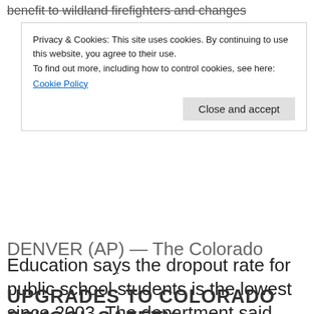benefit to wildland firefighters and changes...
Privacy & Cookies: This site uses cookies. By continuing to use this website, you agree to their use.
To find out more, including how to control cookies, see here:
Cookie Policy
Close and accept
DENVER (AP) — The Colorado Department of Education says the dropout rate for public school students is the lowest since 2003. The department said Thursday the rate is now down for the seventh consecutive year. Officials say graduation rate increases were seen across nearly all racial and ethnic groups. The department says many
– .
UPGRADES TO COLORADO SCHOOL SAFETY